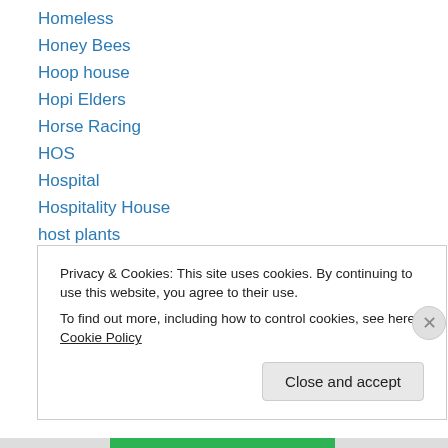Homeless
Honey Bees
Hoop house
Hopi Elders
Horse Racing
HOS
Hospital
Hospitality House
host plants
Hummingbird
Hyalophora cecropia
Hydraulic Fracturing
Ice Man
Privacy & Cookies: This site uses cookies. By continuing to use this website, you agree to their use.
To find out more, including how to control cookies, see here: Cookie Policy
Close and accept